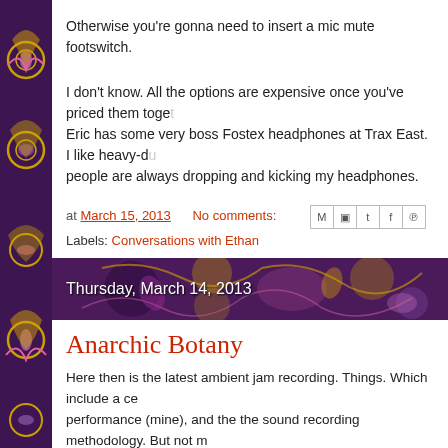Otherwise you're gonna need to insert a mic mute footswitch.
I don't know. All the options are expensive once you've priced them together. Eric has some very boss Fostex headphones at Trax East. I like heavy-duty people are always dropping and kicking my headphones.
at March 15, 2013   No comments:
Labels: Conversations with Ethan
Thursday, March 14, 2013
Anarchic Botany
Here then is the latest ambient jam recording. Things. Which include a ce performance (mine), and the the sound recording methodology. But not m post.
[Figure (screenshot): Bandcamp embedded player showing Antarctic Botany by Pleasure for the Empire with album art of a small animal, play button, timeline at 00:00 / 19:33]
Antarctic Botany  buy  share
Pleasure for the Empire
00:00  19:33